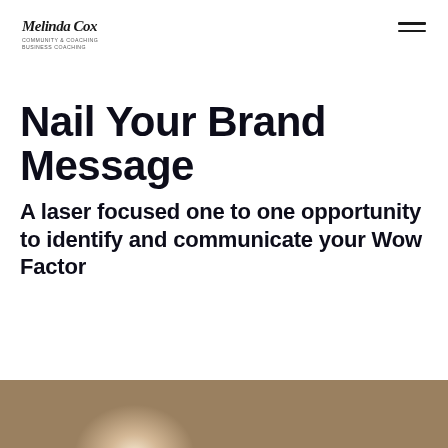Melinda Cox — Community & Coaching, Business Coaching
Nail Your Brand Message
A laser focused one to one opportunity to identify and communicate your Wow Factor
[Figure (photo): Partial view of two women at the bottom of the page, appearing outdoors with a soft natural background.]